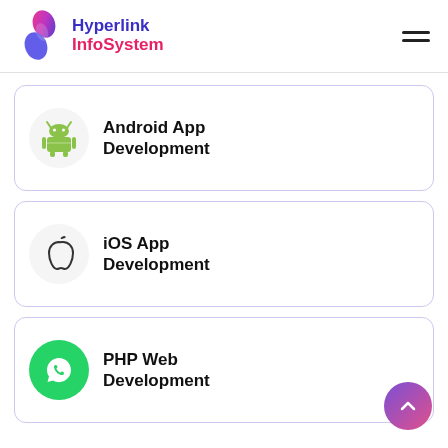[Figure (logo): Hyperlink InfoSystem logo with stylized S/swoosh icon in pink/blue gradient and bold blue 'Hyperlink' + red 'InfoSystem' text]
Android App Development
iOS App Development
PHP Web Development